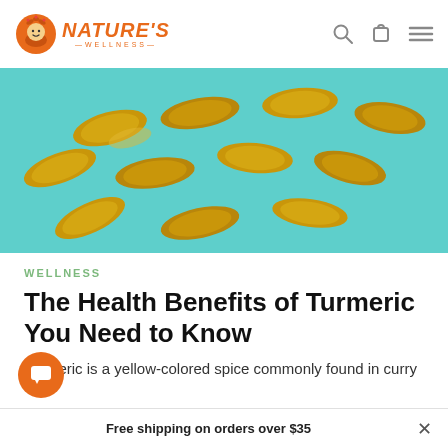NATURE'S WELLNESS — navigation header with logo, search, cart, and menu icons
[Figure (photo): Overhead photo of golden-yellow turmeric supplement capsules scattered on a teal/mint green background]
WELLNESS
The Health Benefits of Turmeric You Need to Know
Turmeric is a yellow-colored spice commonly found in curry
Free shipping on orders over $35